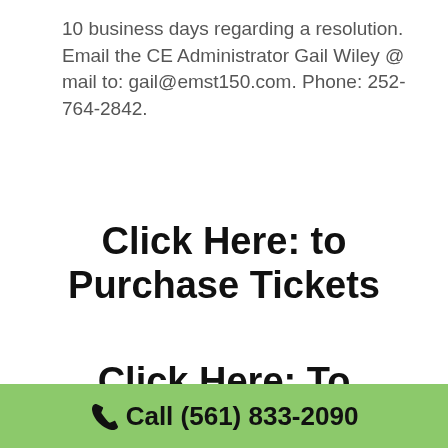10 business days regarding a resolution. Email the CE Administrator Gail Wiley @ mail to: gail@emst150.com. Phone: 252-764-2842.
Click Here: to Purchase Tickets
Click Here: To Complete Registration Contact
Call (561) 833-2090